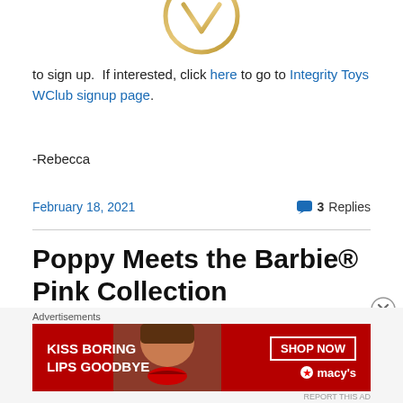[Figure (logo): Gold circular logo with a V-shaped checkmark inside, partially cropped at top]
to sign up.  If interested, click here to go to Integrity Toys WClub signup page.
-Rebecca
February 18, 2021   💬 3 Replies
Poppy Meets the Barbie® Pink Collection
[Figure (photo): Macy's advertisement banner: KISS BORING LIPS GOODBYE with SHOP NOW button and Macy's star logo on dark red background]